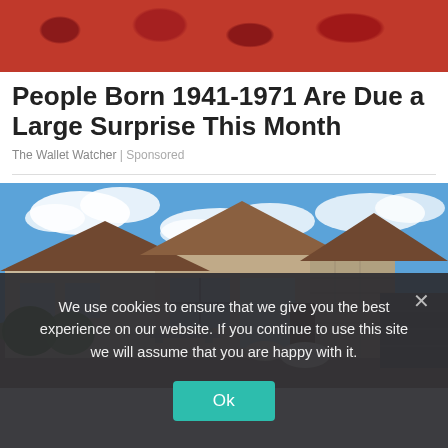[Figure (photo): Close-up photo of dried meat/fruit and red berries on a wooden surface]
People Born 1941-1971 Are Due a Large Surprise This Month
The Wallet Watcher | Sponsored
[Figure (photo): Exterior photo of a modern single-story house with tiled roofs, stone accents, large windows, patio furniture, and a blue sky with clouds]
We use cookies to ensure that we give you the best experience on our website. If you continue to use this site we will assume that you are happy with it.